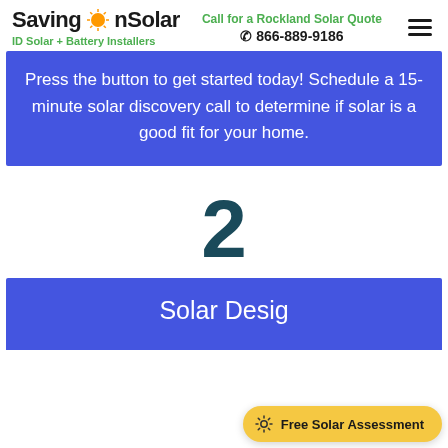SavingOnSolar | ID Solar + Battery Installers | Call for a Rockland Solar Quote | ☎ 866-889-9186
Press the button to get started today! Schedule a 15-minute solar discovery call to determine if solar is a good fit for your home.
2
Solar Desig...